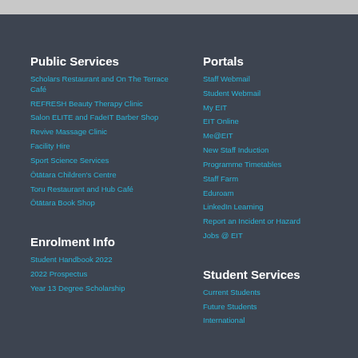Public Services
Scholars Restaurant and On The Terrace Café
REFRESH Beauty Therapy Clinic
Salon ELITE and FadeIT Barber Shop
Revive Massage Clinic
Facility Hire
Sport Science Services
Ōtātara Children's Centre
Toru Restaurant and Hub Café
Ōtātara Book Shop
Portals
Staff Webmail
Student Webmail
My EIT
EIT Online
Me@EIT
New Staff Induction
Programme Timetables
Staff Farm
Eduroam
LinkedIn Learning
Report an Incident or Hazard
Jobs @ EIT
Enrolment Info
Student Handbook 2022
2022 Prospectus
Year 13 Degree Scholarship
Student Services
Current Students
Future Students
International